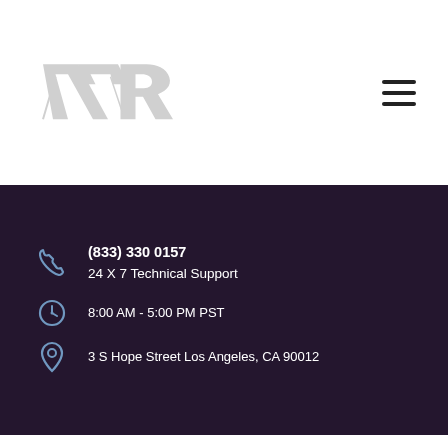[Figure (logo): VR logo in light gray, stylized V and R with wing shapes]
(833) 330 0157
24 X 7 Technical Support
8:00 AM - 5:00 PM PST
3 S Hope Street Los Angeles, CA 90012
Home > news > CITRIX
POWERSEHLL DISKSPACE SCRIPT